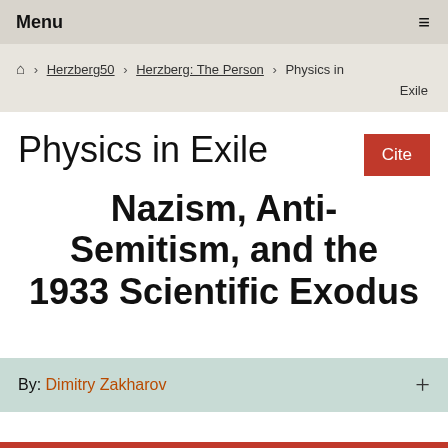Menu
Home › Herzberg50 › Herzberg: The Person › Physics in Exile
Physics in Exile
Nazism, Anti-Semitism, and the 1933 Scientific Exodus
By: Dimitry Zakharov